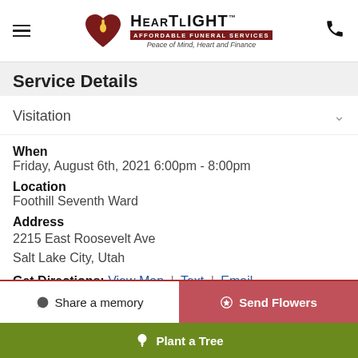[Figure (logo): HeartLight Affordable Funeral Services logo with heart/candle icon and tagline 'Peace of Mind, Heart and Finance']
Service Details
Visitation
When
Friday, August 6th, 2021 6:00pm - 8:00pm
Location
Foothill Seventh Ward
Address
2215 East Roosevelt Ave
Salt Lake City, Utah
Get Directions: View Map | Text | Email
Share a memory
Send Flowers
Plant a Tree